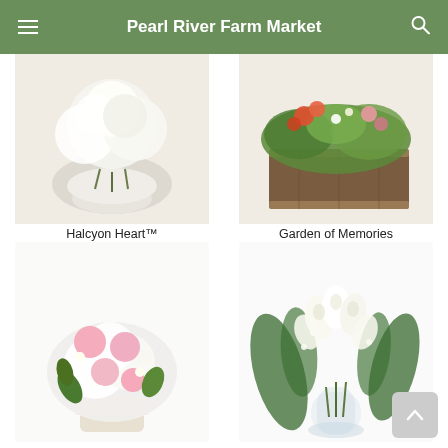Pearl River Farm Market
[Figure (photo): White floral arrangement in a round glass vase - Halcyon Heart bouquet]
Halcyon Heart™
From $79.95
[Figure (photo): Green plants and flowers in a rustic wooden rectangular planter - Garden of Memories]
Garden of Memories
From $79.95
[Figure (photo): Pink roses and white hydrangeas bouquet in a cream vase]
[Figure (photo): White roses and calla lilies with baby's breath in a glass vase]